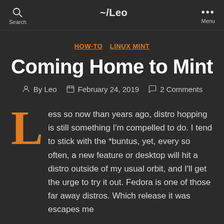Search  ~/Leo  Menu
HOW-TO  LINUX MINT
Coming Home to Mint
By Leo  February 24, 2019  2 Comments
Less so now than years ago, distro hopping is still something I'm compelled to do. I tend to stick with the *buntus, yet, every so often, a new feature or desktop will hit a distro outside of my usual orbit, and I'll get the urge to try it out. Fedora is one of those far away distros. Which release it was escapes me